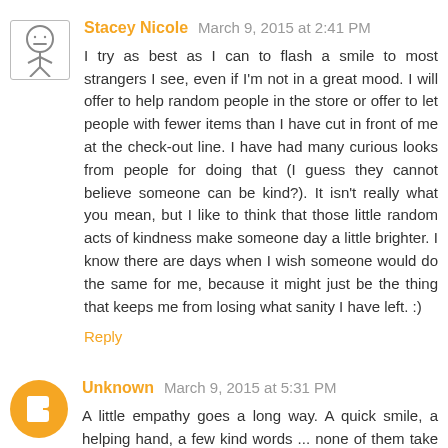Stacey Nicole  March 9, 2015 at 2:41 PM
I try as best as I can to flash a smile to most strangers I see, even if I'm not in a great mood. I will offer to help random people in the store or offer to let people with fewer items than I have cut in front of me at the check-out line. I have had many curious looks from people for doing that (I guess they cannot believe someone can be kind?). It isn't really what you mean, but I like to think that those little random acts of kindness make someone day a little brighter. I know there are days when I wish someone would do the same for me, because it might just be the thing that keeps me from losing what sanity I have left. :)
Reply
Unknown  March 9, 2015 at 5:31 PM
A little empathy goes a long way. A quick smile, a helping hand, a few kind words ... none of them take more than 10 seconds to give. Yet the impact can last for hours, days or,